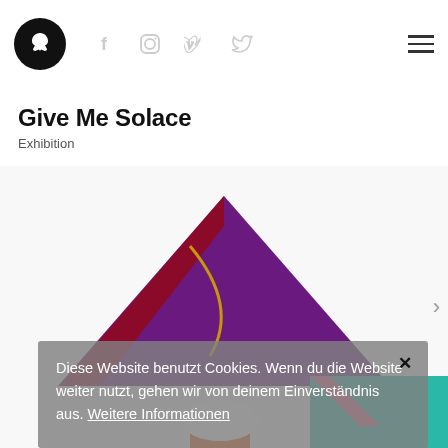Give Me Solace — website header with logo, social icons (Facebook, Instagram, Vimeo, Twitter), and hamburger menu
Give Me Solace
Exhibition
[Figure (photo): Colorful geometric artwork with purple triangle, teal shape, and orange rectangle against white background]
Diese Website benutzt Cookies. Wenn du die Website weiter nutzt, gehen wir von deinem Einverständnis aus. Weitere Informationen